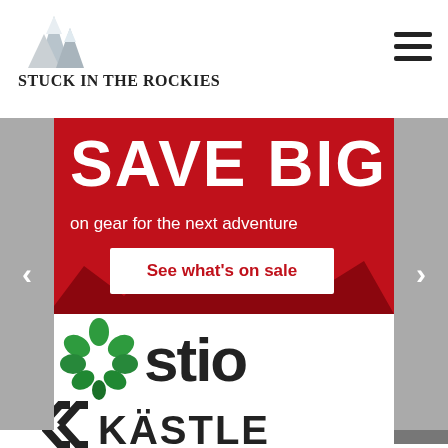Stuck in the Rockies
[Figure (logo): Stuck in the Rockies website header logo with mountain graphic and site name]
[Figure (infographic): Red banner advertisement: SAVE BIG on gear for the next adventure. See what's on sale button.]
[Figure (logo): Stio brand logo with green pine cone icon and 'stio' wordmark]
[Figure (logo): Kastle ski brand logo with double-chevron and KASTLE wordmark]